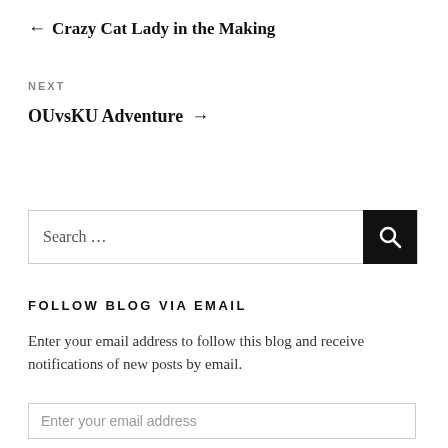← Crazy Cat Lady in the Making
NEXT
OUvsKU Adventure →
[Figure (other): Search bar with text 'Search ...' and a black search button with magnifying glass icon]
FOLLOW BLOG VIA EMAIL
Enter your email address to follow this blog and receive notifications of new posts by email.
Enter your email address